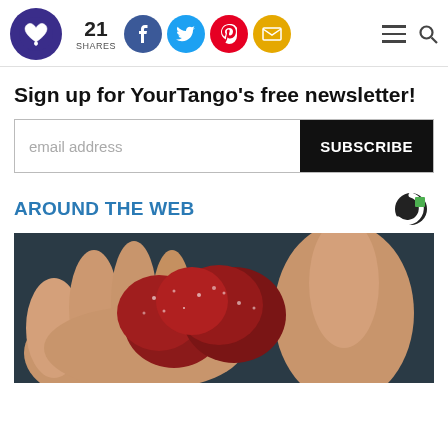YourTango logo — 21 SHARES — Facebook, Twitter, Pinterest, Email social icons — menu and search
Sign up for YourTango's free newsletter!
email address [input] SUBSCRIBE [button]
AROUND THE WEB
[Figure (photo): A hand holding several red gummy candies coated in sugar]